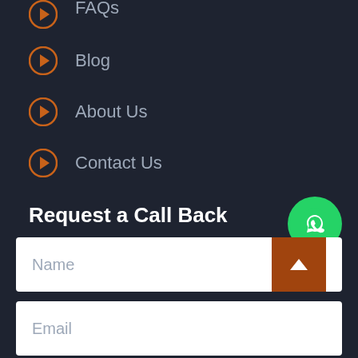FAQs
Blog
About Us
Contact Us
Request a Call Back
Name
Email
Phone